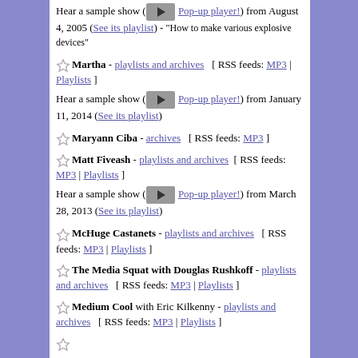Hear a sample show ( [play button] Pop-up player!) from August 4, 2005 (See its playlist) - "How to make various explosive devices"
Martha - playlists and archives [ RSS feeds: MP3 | Playlists ]
Hear a sample show ( [play button] Pop-up player!) from January 11, 2014 (See its playlist)
Maryann Ciba - archives [ RSS feeds: MP3 ]
Matt Fiveash - playlists and archives [ RSS feeds: MP3 | Playlists ]
Hear a sample show ( [play button] Pop-up player!) from March 28, 2013 (See its playlist)
McHuge Castanets - playlists and archives [ RSS feeds: MP3 | Playlists ]
The Media Squat with Douglas Rushkoff - playlists and archives [ RSS feeds: MP3 | Playlists ]
Medium Cool with Eric Kilkenny - playlists and archives [ RSS feeds: MP3 | Playlists ]